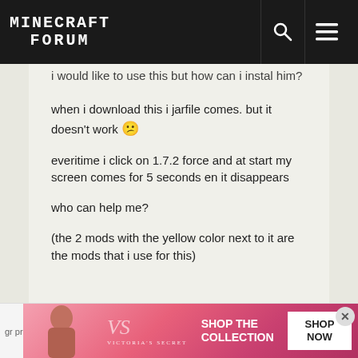MINECRAFT FORUM
i would like to use this but how can i instal him?
when i download this i jarfile comes. but it doesn't work 😕
everitime i click on 1.7.2 force and at start my screen comes for 5 seconds en it disappears
who can help me?
(the 2 mods with the yellow color next to it are the mods that i use for this)
gr pr... [Victoria's Secret advertisement: SHOP THE COLLECTION — SHOP NOW]